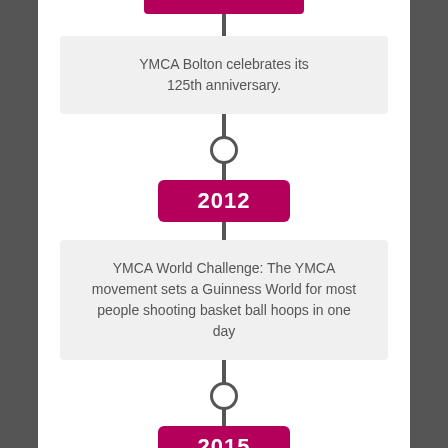[Figure (infographic): Vertical timeline infographic showing YMCA historical events. Top shows partial pink year badge, then a light grey event box 'YMCA Bolton celebrates its 125th anniversary.', a circle node on the timeline, year badge '2012', another event box 'YMCA World Challenge: The YMCA movement sets a Guinness World for most people shooting basket ball hoops in one day', another circle node, and year badge '2015' at the bottom.]